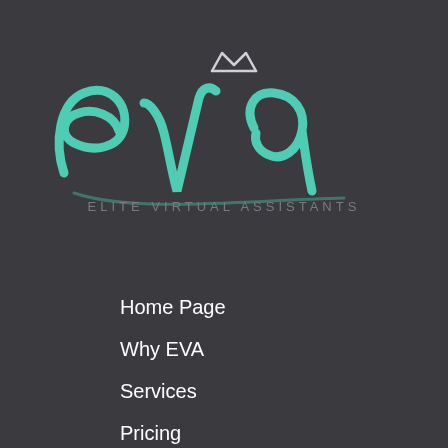[Figure (logo): EVA Elite Virtual Assistants logo — cursive teal 'eva' text with a small crown above, on a dark charcoal background, with 'ELITE VIRTUAL ASSISTANTS' in grey uppercase letters below]
Home Page
Why EVA
Services
Pricing
Join EVA